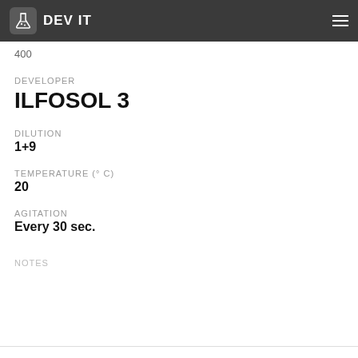DEV IT
400
DEVELOPER
ILFOSOL 3
DILUTION
1+9
TEMPERATURE (° C)
20
AGITATION
Every 30 sec.
NOTES